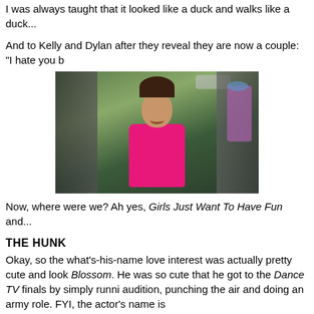I was always taught that it looked like a duck and walks like a duck...
And to Kelly and Dylan after they reveal they are now a couple: "I hate you b
[Figure (photo): A young woman with long dark hair wearing a bright pink top, smiling, surrounded by a crowd of people outdoors. She appears to be at some kind of event or gathering.]
Now, where were we? Ah yes, Girls Just Want To Have Fun and...
THE HUNK
Okay, so the what's-his-name love interest was actually pretty cute and look Blossom. He was so cute that he got to the Dance TV finals by simply runni audition, punching the air and doing an army role. FYI, the actor's name is